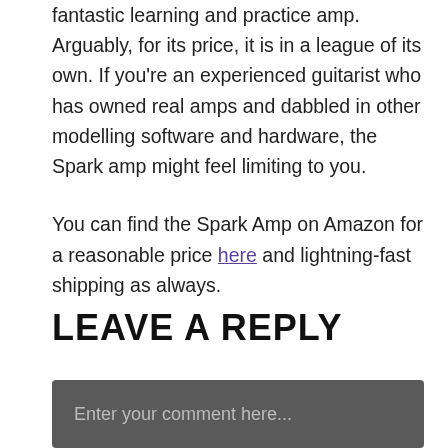fantastic learning and practice amp. Arguably, for its price, it is in a league of its own. If you're an experienced guitarist who has owned real amps and dabbled in other modelling software and hardware, the Spark amp might feel limiting to you.

You can find the Spark Amp on Amazon for a reasonable price here and lightning-fast shipping as always.
LEAVE A REPLY
Enter your comment here...